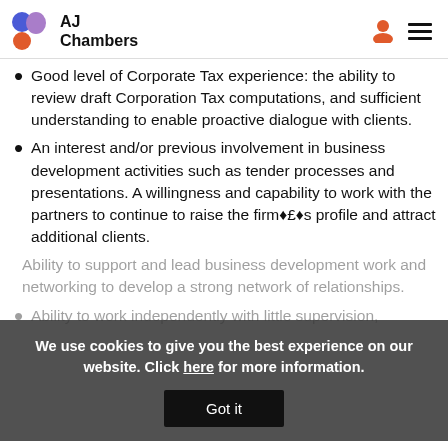AJ Chambers
Good level of Corporate Tax experience: the ability to review draft Corporation Tax computations, and sufficient understanding to enable proactive dialogue with clients.
An interest and/or previous involvement in business development activities such as tender processes and presentations. A willingness and capability to work with the partners to continue to raise the firm’s profile and attract additional clients.
Ability to support and lead business development work and networking to develop a strong network of relationships.
Ability to work independently with little supervision,